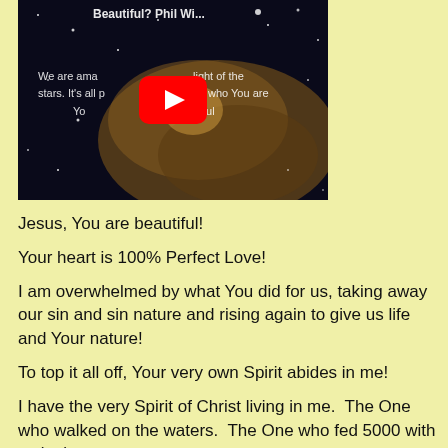[Figure (screenshot): YouTube video thumbnail showing a space/nebula image with text 'Beautiful? Phil Wi...' at top and lyrics 'We are amazed by the light of the stars. It's all part of who You are You're Beautiful' overlaid, with a YouTube play button in the center.]
Jesus, You are beautiful!
Your heart is 100% Perfect Love!
I am overwhelmed by what You did for us, taking away our sin and sin nature and rising again to give us life and Your nature!
To top it all off, Your very own Spirit abides in me!
I have the very Spirit of Christ living in me.  The One who walked on the waters.  The One who fed 5000 with a single